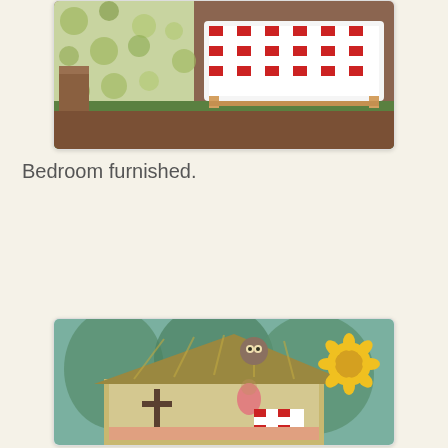[Figure (photo): Interior of a miniature dollhouse bedroom with green carpet, a bed with red and white checkered cover, patterned wallpaper with green floral print, and wooden furniture]
Bedroom furnished.
[Figure (photo): A handmade cardboard dollhouse with a straw/grass roof, an owl decoration on the top gable, a large yellow sunflower decoration on the right side, and inside a figure wearing a pink/red outfit with a checkered bed, set against a blue-green foliage background]